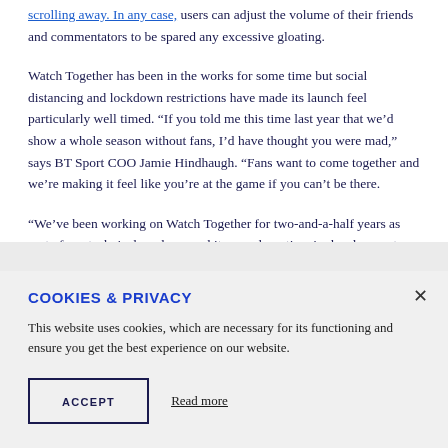scrolling away. In any case, users can adjust the volume of their friends and commentators to be spared any excessive gloating.
Watch Together has been in the works for some time but social distancing and lockdown restrictions have made its launch feel particularly well timed. “If you told me this time last year that we’d show a whole season without fans, I’d have thought you were mad,” says BT Sport COO Jamie Hindhaugh. “Fans want to come together and we’re making it feel like you’re at the game if you can’t be there.
“We’ve been working on Watch Together for two-and-a-half years as part of our technical roadmap and it was a long time in development.
COOKIES & PRIVACY
This website uses cookies, which are necessary for its functioning and ensure you get the best experience on our website.
ACCEPT
Read more